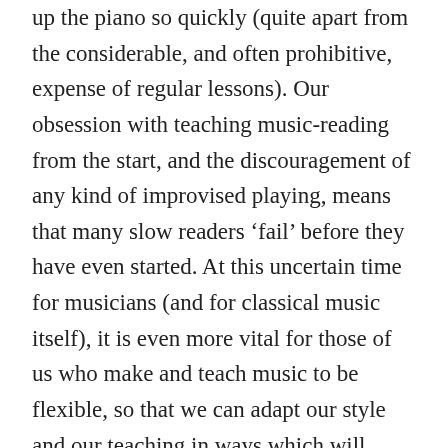up the piano so quickly (quite apart from the considerable, and often prohibitive, expense of regular lessons). Our obsession with teaching music-reading from the start, and the discouragement of any kind of improvised playing, means that many slow readers 'fail' before they have even started. At this uncertain time for musicians (and for classical music itself), it is even more vital for those of us who make and teach music to be flexible, so that we can adapt our style and our teaching in ways which will bring us and our pupils success, or at the very least, joy. For many classical musicians, the reality has always been a life of long working hours and low pay. Of